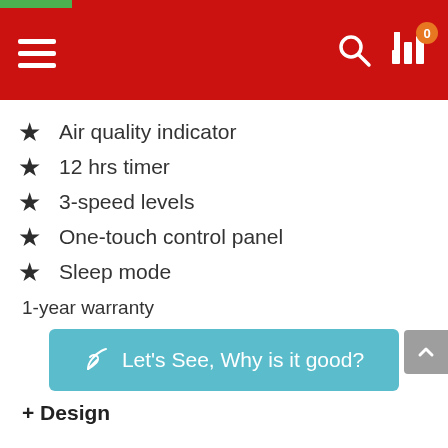Navigation bar with hamburger menu, search icon, and cart icon with badge 0
Air quality indicator
12 hrs timer
3-speed levels
One-touch control panel
Sleep mode
1-year warranty
Let's See, Why is it good?
+ Design